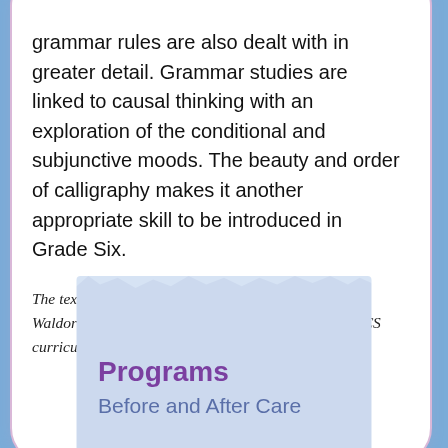grammar rules are also dealt with in greater detail. Grammar studies are linked to causal thinking with an exploration of the conditional and subjunctive moods. The beauty and order of calligraphy makes it another appropriate skill to be introduced in Grade Six.
The text above is adapted from the Alliance for Public Waldorf Education, with revisions that reflect the MPCS curriculum.
Programs
Before and After Care